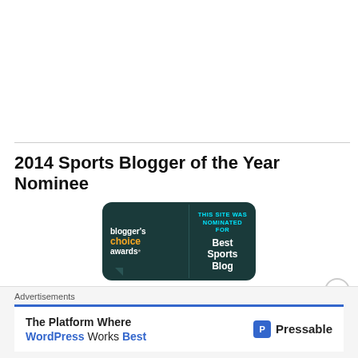2014 Sports Blogger of the Year Nominee
[Figure (logo): Blogger's Choice Awards badge — 'This site was nominated for Best Sports Blog']
Advertisements
[Figure (infographic): Advertisement banner: 'The Platform Where WordPress Works Best — Pressable']